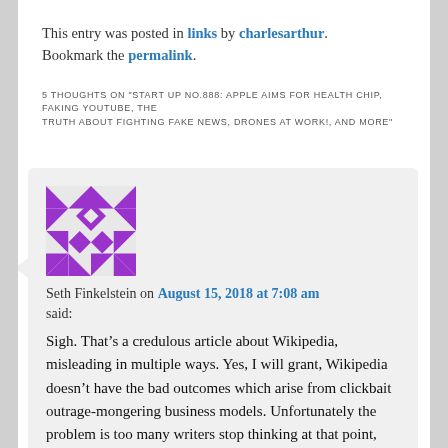This entry was posted in links by charlesarthur. Bookmark the permalink.
5 THOUGHTS ON "START UP NO.888: APPLE AIMS FOR HEALTH CHIP, FAKING YOUTUBE, THE TRUTH ABOUT FIGHTING FAKE NEWS, DRONES AT WORK!, AND MORE"
[Figure (illustration): Purple geometric avatar image made of triangles and diamond shapes in a mosaic/identicon style]
Seth Finkelstein on August 15, 2018 at 7:08 am
said:
Sigh. That’s a credulous article about Wikipedia, misleading in multiple ways. Yes, I will grant, Wikipedia doesn’t have the bad outcomes which arise from clickbait outrage-mongering business models. Unfortunately the problem is too many writers stop thinking at that point, concluding (to radically simplify for conciseness) that since Wikipedia isn’t